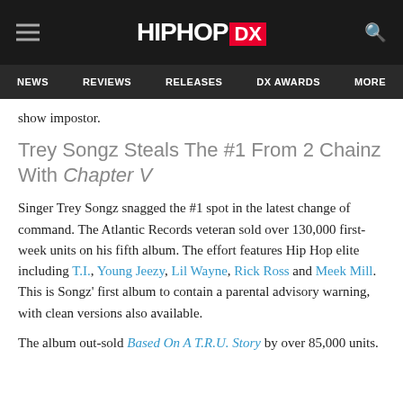HIPHOP DX — NEWS | REVIEWS | RELEASES | DX AWARDS | MORE
show impostor.
Trey Songz Steals The #1 From 2 Chainz With Chapter V
Singer Trey Songz snagged the #1 spot in the latest change of command. The Atlantic Records veteran sold over 130,000 first-week units on his fifth album. The effort features Hip Hop elite including T.I., Young Jeezy, Lil Wayne, Rick Ross and Meek Mill. This is Songz' first album to contain a parental advisory warning, with clean versions also available.
The album out-sold Based On A T.R.U. Story by over 85,000 units.